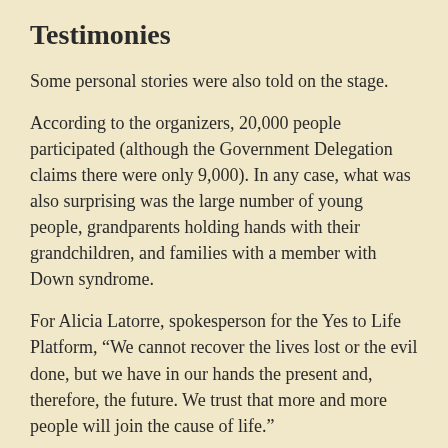Testimonies
Some personal stories were also told on the stage.
According to the organizers, 20,000 people participated (although the Government Delegation claims there were only 9,000). In any case, what was also surprising was the large number of young people, grandparents holding hands with their grandchildren, and families with a member with Down syndrome.
For Alicia Latorre, spokesperson for the Yes to Life Platform, “We cannot recover the lives lost or the evil done, but we have in our hands the present and, therefore, the future. We trust that more and more people will join the cause of life.”
Javier Rodriguez, director of Family Forum, described the march as “a success” and remarked that “the joy of the